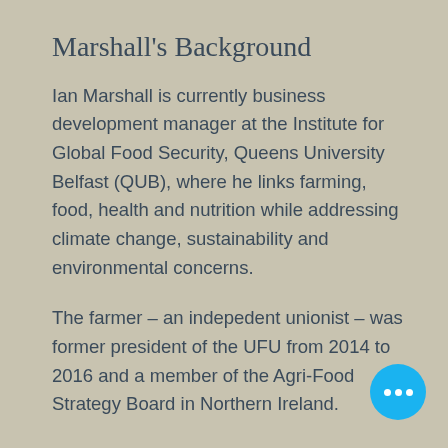Marshall’s Background
Ian Marshall is currently business development manager at the Institute for Global Food Security, Queens University Belfast (QUB), where he links farming, food, health and nutrition while addressing climate change, sustainability and environmental concerns.
The farmer – an indepedent unionist – was former president of the UFU from 2014 to 2016 and a member of the Agri-Food Strategy Board in Northern Ireland.